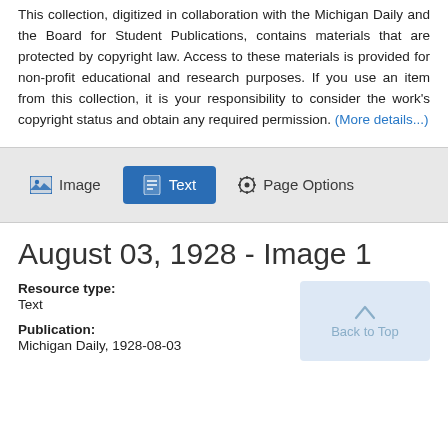This collection, digitized in collaboration with the Michigan Daily and the Board for Student Publications, contains materials that are protected by copyright law. Access to these materials is provided for non-profit educational and research purposes. If you use an item from this collection, it is your responsibility to consider the work's copyright status and obtain any required permission. (More details...)
[Figure (screenshot): Tab bar with Image, Text (active, highlighted in blue), and Page Options buttons]
August 03, 1928 - Image 1
Resource type:
Text
Publication:
Michigan Daily, 1928-08-03